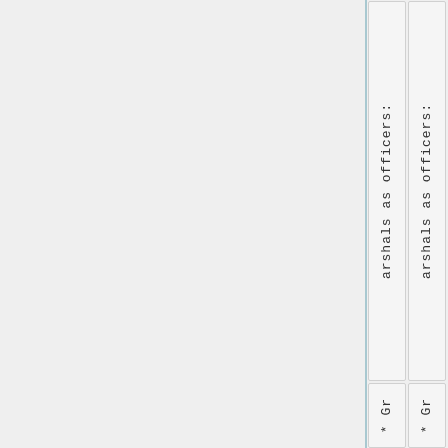arshals as officers:
arshals as officers:
* Gr
* Gr